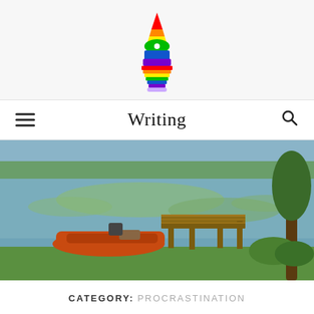[Figure (logo): Rainbow-colored pen nib / chess piece shaped logo in rainbow colors (red, orange, yellow, green, blue, purple stripes)]
Writing
[Figure (photo): Outdoor lakeside scene with an orange wooden boat docked at a wooden pier, calm lake with water plants, trees in background, green grass in foreground]
CATEGORY: PROCRASTINATION
Follow
...